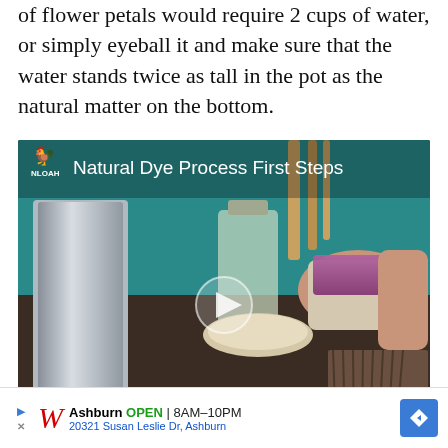of flower petals would require 2 cups of water, or simply eyeball it and make sure that the water stands twice as tall in the pot as the natural matter on the bottom.
[Figure (screenshot): Video thumbnail titled 'Natural Dye Process First Steps' with NLOAH logo showing a kitchen scene with a measuring cup of red/purple plant material being held, with a play button overlay.]
4. Turn on medium heat under the cookpot, and simmer the natural dye mix
and ... ric
Ashburn OPEN 8AM–10PM 20321 Susan Leslie Dr, Ashburn (ad)